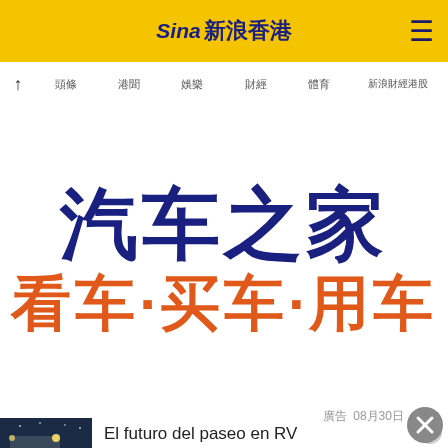Sina 新浪香港
↑ 頭條 港聞 娛樂 財經 體育 新浪財經港股
[Figure (logo): 汽車之家 看車·買車·用車 banner advertisement in blue and orange Chinese characters]
廣告 08月30日 12:40
[Figure (photo): Nighttime outdoor scene with RV and people]
El futuro del paseo en RV